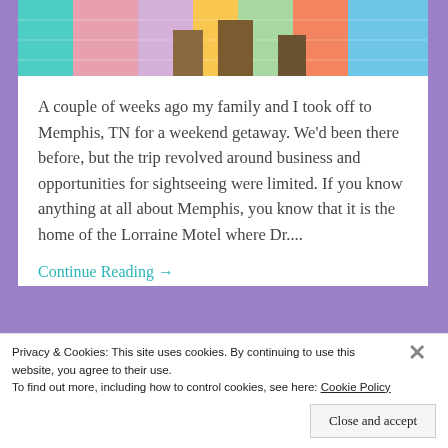[Figure (photo): Top portion of a photo showing people standing in front of a colorful graffiti-painted brick wall with teal, pink, purple, yellow, and green colors]
A couple of weeks ago my family and I took off to Memphis, TN for a weekend getaway. We'd been there before, but the trip revolved around business and opportunities for sightseeing were limited. If you know anything at all about Memphis, you know that it is the home of the Lorraine Motel where Dr....
Continue Reading →
Advertisements
[Figure (screenshot): Advertisement box with beige/cream background showing the word 'Professionally' in large bold serif font]
Privacy & Cookies: This site uses cookies. By continuing to use this website, you agree to their use.
To find out more, including how to control cookies, see here: Cookie Policy
Close and accept